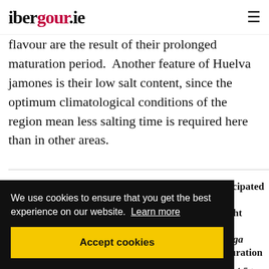ibergour.ie
flavour are the result of their prolonged maturation period. Another feature of Huelva jamones is their low salt content, since the optimum climatological conditions of the region mean less salting time is required here than in other areas.
| Cut weight of | Minimum | Anticipated final weight after bodega maturation |
| --- | --- | --- |
|  |  | from 4.5 to 5 kg |
|  | months |  |
We use cookies to ensure that you get the best experience on our website. Learn more
Accept cookies